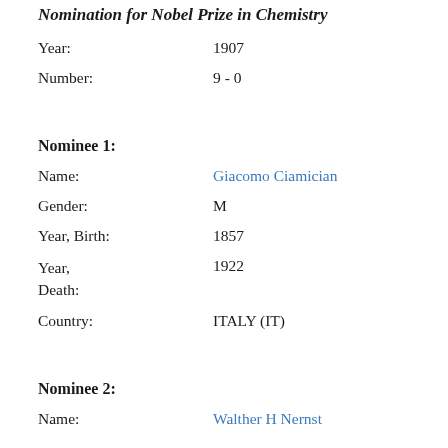Nomination for Nobel Prize in Chemistry
Year: 1907
Number: 9 - 0
Nominee 1:
Name: Giacomo Ciamician
Gender: M
Year, Birth: 1857
Year, Death: 1922
Country: ITALY (IT)
Nominee 2:
Name: Walther H Nernst